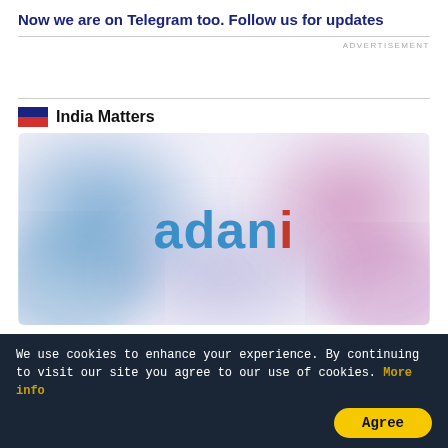Now we are on Telegram too. Follow us for updates
ADVERTISEMENT
India Matters
[Figure (logo): Adani logo centered on a blurred colorful background with blue and pink/purple circular shapes]
We use cookies to enhance your experience. By continuing to visit our site you agree to our use of cookies. More info